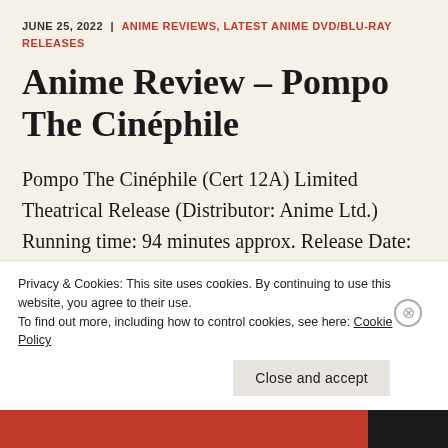JUNE 25, 2022 | ANIME REVIEWS, LATEST ANIME DVD/BLU-RAY RELEASES
Anime Review – Pompo The Cinéphile
Pompo The Cinéphile (Cert 12A) Limited Theatrical Release (Distributor: Anime Ltd.) Running time: 94 minutes approx. Release Date: June 29th  "Welcome to the world of dreams and
Privacy & Cookies: This site uses cookies. By continuing to use this website, you agree to their use.
To find out more, including how to control cookies, see here: Cookie Policy
Close and accept